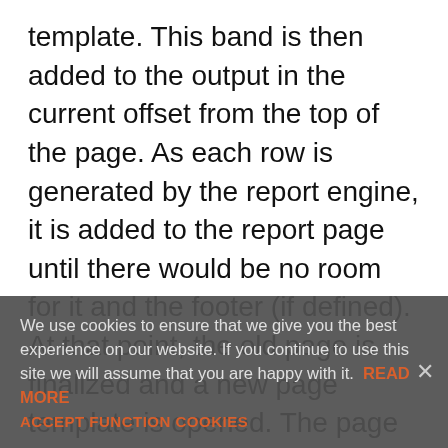template. This band is then added to the output in the current offset from the top of the page. As each row is generated by the report engine, it is added to the report page until there would be no room for it and the footer (if defined). At that point, the old page is finalized and a new page template is opened. The page header (if defined) is applied and the output row is then added to the new page. This continues until the last output row is processed. If a report header band is defined, then at the start of the report, the report header band will be output immediately after the page header. The body entries are then collected into body rows. After the last body entry, if defined, a report footer will be output followed by the page footer. Often it might be desirable to suppress the page header
We use cookies to ensure that we give you the best experience on our website. If you continue to use this site we will assume that you are happy with it. READ MORE ACCEPT FUNCTION COOKIES